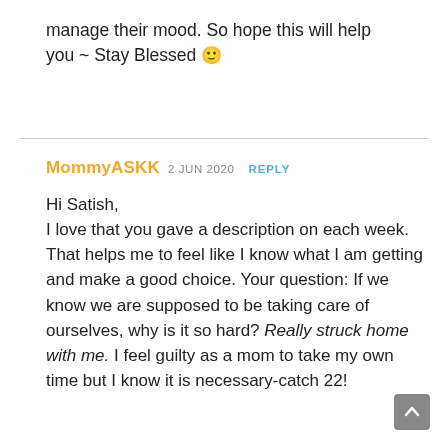manage their mood. So hope this will help you ~ Stay Blessed 🙂
MommyASKK 2 JUN 2020 REPLY

Hi Satish,
I love that you gave a description on each week. That helps me to feel like I know what I am getting and make a good choice. Your question: If we know we are supposed to be taking care of ourselves, why is it so hard? Really struck home with me. I feel guilty as a mom to take my own time but I know it is necessary-catch 22!